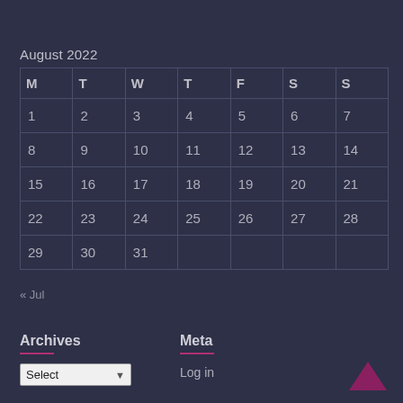August 2022
| M | T | W | T | F | S | S |
| --- | --- | --- | --- | --- | --- | --- |
| 1 | 2 | 3 | 4 | 5 | 6 | 7 |
| 8 | 9 | 10 | 11 | 12 | 13 | 14 |
| 15 | 16 | 17 | 18 | 19 | 20 | 21 |
| 22 | 23 | 24 | 25 | 26 | 27 | 28 |
| 29 | 30 | 31 |  |  |  |  |
« Jul
Archives
Meta
Log in